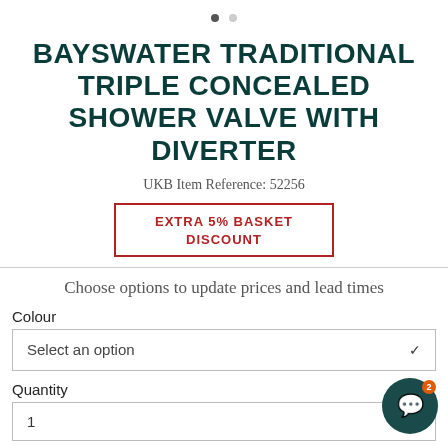BAYSWATER TRADITIONAL TRIPLE CONCEALED SHOWER VALVE WITH DIVERTER
UKB Item Reference: 52256
EXTRA 5% BASKET DISCOUNT
Choose options to update prices and lead times
Colour
Select an option
Quantity
1